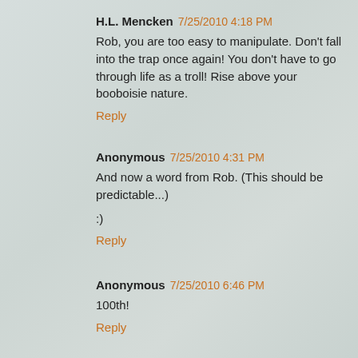H.L. Mencken  7/25/2010 4:18 PM
Rob, you are too easy to manipulate. Don't fall into the trap once again! You don't have to go through life as a troll! Rise above your booboisie nature.
Reply
Anonymous  7/25/2010 4:31 PM
And now a word from Rob. (This should be predictable...)
:)
Reply
Anonymous  7/25/2010 6:46 PM
100th!
Reply